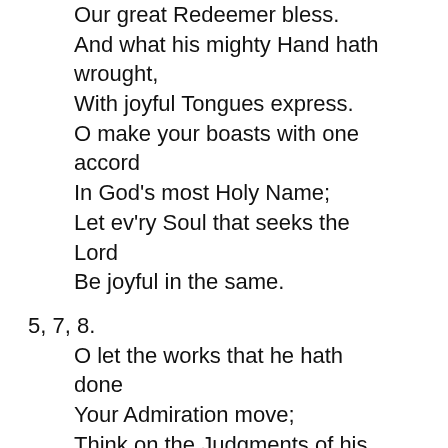Our great Redeemer bless.
And what his mighty Hand hath wrought,
With joyful Tongues express.
O make your boasts with one accord
In God's most Holy Name;
Let ev'ry Soul that seeks the Lord
Be joyful in the same.
5, 7, 8.
O let the works that he hath done
Your Admiration move;
Think on the Judgments of his Mouth,
And wonders of his Love.
It is our Glory and our Joy
That this great God is ours,
His Judgments pass    [Page 42] through all the Earth
With never-failing pow'rs.
His Cov'nant to his People seal'd,
He ever calls to mind.